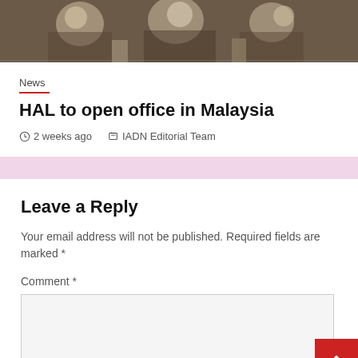[Figure (photo): A photograph showing people in formal attire at what appears to be an official meeting or signing ceremony, with flags and flowers visible on a table.]
News
HAL to open office in Malaysia
2 weeks ago   IADN Editorial Team
Leave a Reply
Your email address will not be published. Required fields are marked *
Comment *